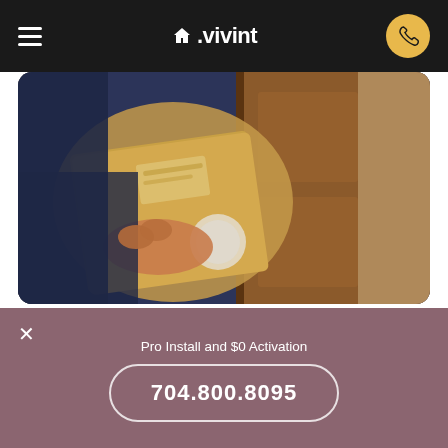Vivint - Navigation bar with hamburger menu, Vivint logo, and phone button
[Figure (photo): A person holding a cardboard delivery package near a wooden door, wearing a dark blue shirt.]
Reliable home security for Bostic, North Carolina
Unlike most alarm systems that send alerts to a monitoring center once a window is broken or a sensor is activated,
Pro Install and $0 Activation
704.800.8095